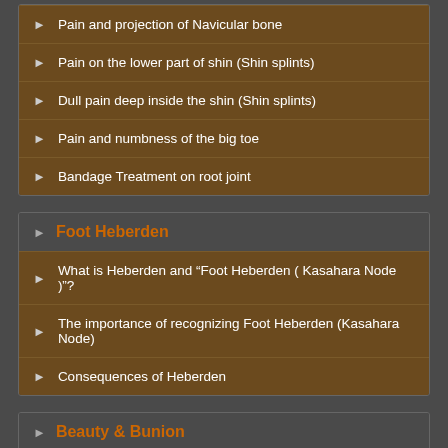Pain and projection of Navicular bone
Pain on the lower part of shin (Shin splints)
Dull pain deep inside the shin (Shin splints)
Pain and numbness of the big toe
Bandage Treatment on root joint
Foot Heberden
What is Heberden and “Foot Heberden ( Kasahara Node )”?
The importance of recognizing Foot Heberden (Kasahara Node)
Consequences of Heberden
Beauty & Bunion
Shin, calf and bunion
Hips, thighs, butt and bunion